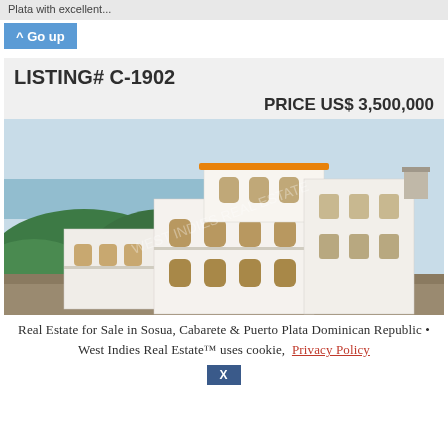Plata with excellent...
^ Go up
LISTING# C-1902
PRICE US$ 3,500,000
[Figure (photo): Multi-story white villa/house on a hillside overlooking the ocean, Caribbean setting with lush greenery]
Real Estate for Sale in Sosua, Cabarete & Puerto Plata Dominican Republic • West Indies Real Estate™ uses cookie,  Privacy Policy
X